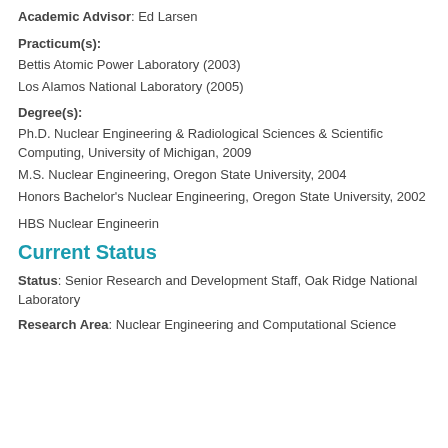Academic Advisor: Ed Larsen
Practicum(s):
Bettis Atomic Power Laboratory (2003)
Los Alamos National Laboratory (2005)
Degree(s):
Ph.D. Nuclear Engineering & Radiological Sciences & Scientific Computing, University of Michigan, 2009
M.S. Nuclear Engineering, Oregon State University, 2004
Honors Bachelor's Nuclear Engineering, Oregon State University, 2002
HBS Nuclear Engineerin
Current Status
Status: Senior Research and Development Staff, Oak Ridge National Laboratory
Research Area: Nuclear Engineering and Computational Science